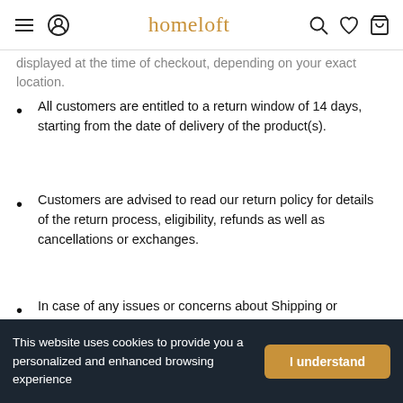homeloft
displayed at the time of checkout, depending on your exact location.
All customers are entitled to a return window of 14 days, starting from the date of delivery of the product(s).
Customers are advised to read our return policy for details of the return process, eligibility, refunds as well as cancellations or exchanges.
In case of any issues or concerns about Shipping or Returns, please contact us and we will be happy to help.
r Reviews
This website uses cookies to provide you a personalized and enhanced browsing experience